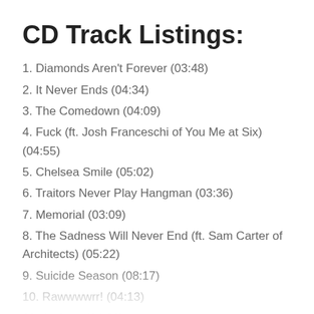CD Track Listings:
1. Diamonds Aren't Forever (03:48)
2. It Never Ends (04:34)
3. The Comedown (04:09)
4. Fuck (ft. Josh Franceschi of You Me at Six) (04:55)
5. Chelsea Smile (05:02)
6. Traitors Never Play Hangman (03:36)
7. Memorial (03:09)
8. The Sadness Will Never End (ft. Sam Carter of Architects) (05:22)
9. Suicide Season (08:17)
10. Rawwwrr! (04:13)
11. Anthem (04:39)
12. Death Breath (Toxic Avenger Remix) (04:33)
13. Alligator Blood (04:31)